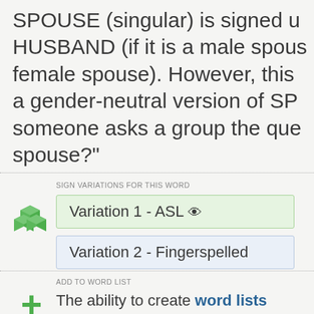SPOUSE (singular) is signed u... HUSBAND (if it is a male spous... female spouse). However, this ... a gender-neutral version of SP... someone asks a group the que... spouse?"
SIGN VARIATIONS FOR THIS WORD
Variation 1 - ASL 👁
Variation 2 - Fingerspelled
ADD TO WORD LIST
The ability to create word lists... Login or sign up now! to use th...